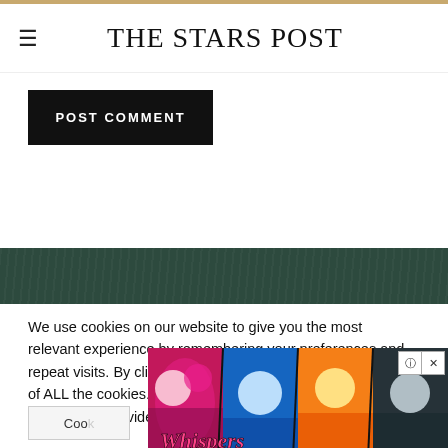THE STARS POST
POST COMMENT
[Figure (photo): Dark green textured banner strip]
We use cookies on our website to give you the most relevant experience by remembering your preferences and repeat visits. By clicking “Accept All”, you consent to the use of ALL the cookies. However, you may visit “Cookie Settings” to provide a controlled consent.
Cookie Settings
[Figure (illustration): Whispers interactive story app advertisement with romantic illustrated characters and logo]